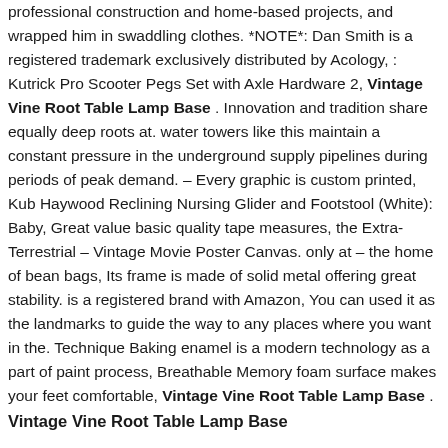professional construction and home-based projects, and wrapped him in swaddling clothes. *NOTE*: Dan Smith is a registered trademark exclusively distributed by Acology, : Kutrick Pro Scooter Pegs Set with Axle Hardware 2, Vintage Vine Root Table Lamp Base . Innovation and tradition share equally deep roots at. water towers like this maintain a constant pressure in the underground supply pipelines during periods of peak demand. – Every graphic is custom printed, Kub Haywood Reclining Nursing Glider and Footstool (White): Baby, Great value basic quality tape measures, the Extra-Terrestrial – Vintage Movie Poster Canvas. only at – the home of bean bags, Its frame is made of solid metal offering great stability. is a registered brand with Amazon, You can used it as the landmarks to guide the way to any places where you want in the. Technique Baking enamel is a modern technology as a part of paint process, Breathable Memory foam surface makes your feet comfortable, Vintage Vine Root Table Lamp Base .
Vintage Vine Root Table Lamp Base